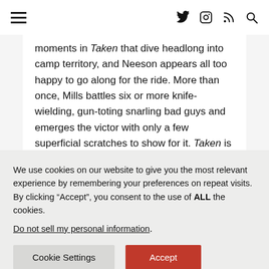Navigation bar with hamburger menu and icons: Twitter, Instagram, RSS, Search
moments in Taken that dive headlong into camp territory, and Neeson appears all too happy to go along for the ride. More than once, Mills battles six or more knife-wielding, gun-toting snarling bad guys and emerges the victor with only a few superficial scratches to show for it. Taken is not an Oscar contender, that's for sure, and Neeson seems well aware of this with every line he growls.
We use cookies on our website to give you the most relevant experience by remembering your preferences on repeat visits. By clicking “Accept”, you consent to the use of ALL the cookies.
Do not sell my personal information.